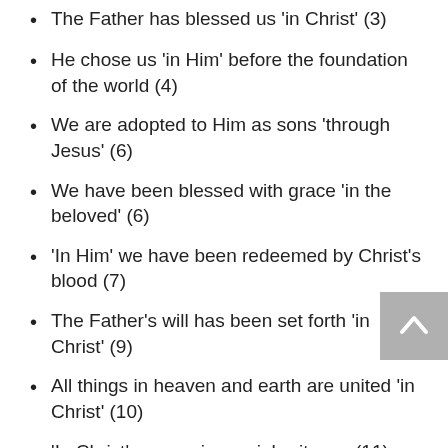The Father has blessed us 'in Christ' (3)
He chose us 'in Him' before the foundation of the world (4)
We are adopted to Him as sons 'through Jesus' (6)
We have been blessed with grace 'in the beloved' (6)
'In Him' we have been redeemed by Christ's blood (7)
The Father's will has been set forth 'in Christ' (9)
All things in heaven and earth are united 'in Christ' (10)
'In Christ' we receive an inheritance (11)
Our hope is in Christ (a)